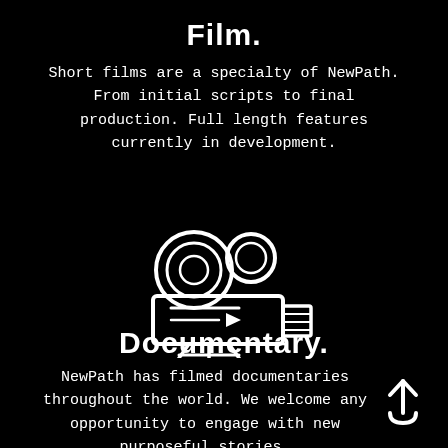Film.
Short films are a specialty of NewPath. From initial scripts to final production. Full length features currently in development.
[Figure (illustration): White outline icon of a vintage film/movie camera on black background]
Documentary.
NewPath has filmed documentaries throughout the world. We welcome any opportunity to engage with new purposeful stories.